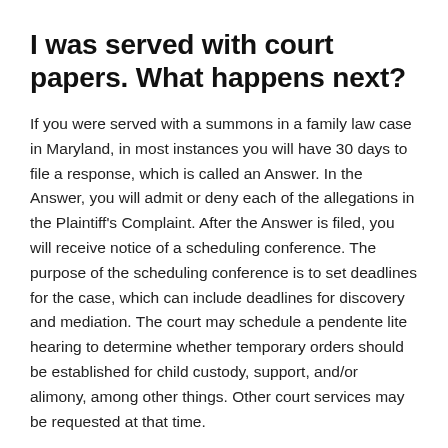I was served with court papers. What happens next?
If you were served with a summons in a family law case in Maryland, in most instances you will have 30 days to file a response, which is called an Answer. In the Answer, you will admit or deny each of the allegations in the Plaintiff's Complaint. After the Answer is filed, you will receive notice of a scheduling conference. The purpose of the scheduling conference is to set deadlines for the case, which can include deadlines for discovery and mediation. The court may schedule a pendente lite hearing to determine whether temporary orders should be established for child custody, support, and/or alimony, among other things. Other court services may be requested at that time.